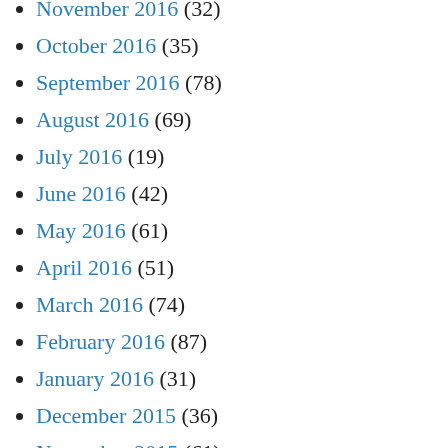November 2016 (32)
October 2016 (35)
September 2016 (78)
August 2016 (69)
July 2016 (19)
June 2016 (42)
May 2016 (61)
April 2016 (51)
March 2016 (74)
February 2016 (87)
January 2016 (31)
December 2015 (36)
November 2015 (61)
October 2015 (72)
September 2015 (53)
August 2015 (42)
July 2015 (38)